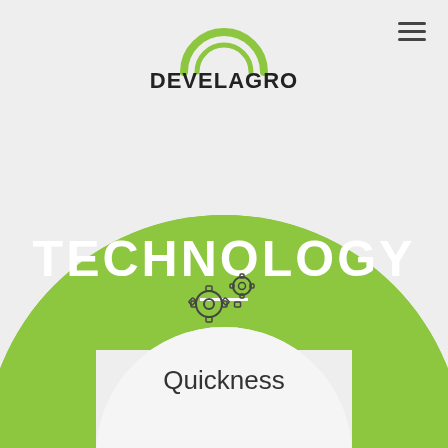[Figure (logo): DEVELAGRO logo with green arch above text]
TECHNOLOGY
[Figure (illustration): Two interlocking gear icons representing technology/quickness]
Quickness